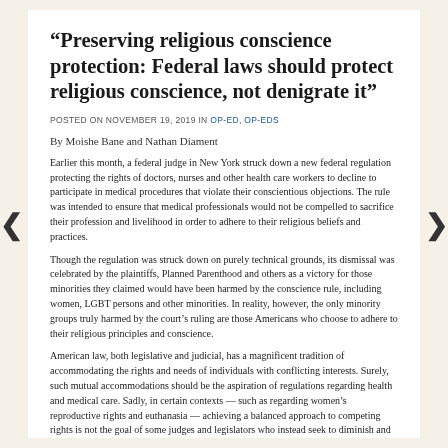“Preserving religious conscience protection: Federal laws should protect religious conscience, not denigrate it”
POSTED ON NOVEMBER 19, 2019 IN OP-ED, OP-EDS
By Moishe Bane and Nathan Diament
Earlier this month, a federal judge in New York struck down a new federal regulation protecting the rights of doctors, nurses and other health care workers to decline to participate in medical procedures that violate their conscientious objections. The rule was intended to ensure that medical professionals would not be compelled to sacrifice their profession and livelihood in order to adhere to their religious beliefs and practices.
Though the regulation was struck down on purely technical grounds, its dismissal was celebrated by the plaintiffs, Planned Parenthood and others as a victory for those minorities they claimed would have been harmed by the conscience rule, including women, LGBT persons and other minorities. In reality, however, the only minority groups truly harmed by the court’s ruling are those Americans who choose to adhere to their religious principles and conscience.
American law, both legislative and judicial, has a magnificent tradition of accommodating the rights and needs of individuals with conflicting interests. Surely, such mutual accommodations should be the aspiration of regulations regarding health and medical care. Sadly, in certain contexts — such as regarding women’s reproductive rights and euthanasia — achieving a balanced approach to competing rights is not the goal of some judges and legislators who instead seek to diminish and dismiss the rights of those Americans committed to abide by their religious tenets.
Read full piece here or here (The Washington Times website)